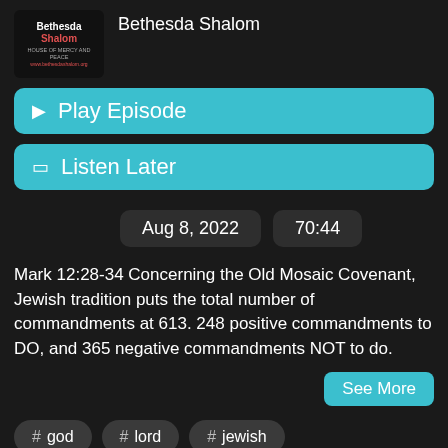[Figure (logo): Bethesda Shalom House of Mercy and Peace logo with red and white text on dark background]
Bethesda Shalom
▶ Play Episode
🔖 Listen Later
Aug 8, 2022
70:44
Mark 12:28-34 Concerning the Old Mosaic Covenant, Jewish tradition puts the total number of commandments at 613. 248 positive commandments to DO, and 365 negative commandments NOT to do.
See More
# god
# lord
# jewish
# greatest commandment
# shema